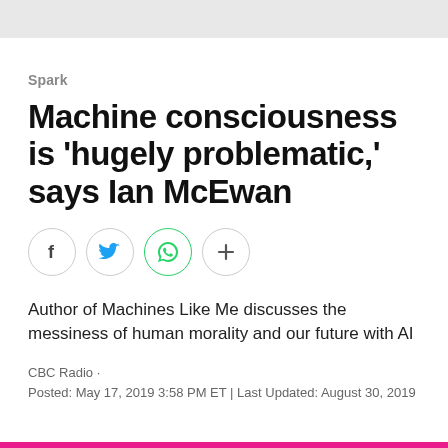Spark
Machine consciousness is 'hugely problematic,' says Ian McEwan
[Figure (other): Social sharing icons: Facebook, Twitter, WhatsApp, and a plus/more button, each in circular outlines]
Author of Machines Like Me discusses the messiness of human morality and our future with AI
CBC Radio · Posted: May 17, 2019 3:58 PM ET | Last Updated: August 30, 2019